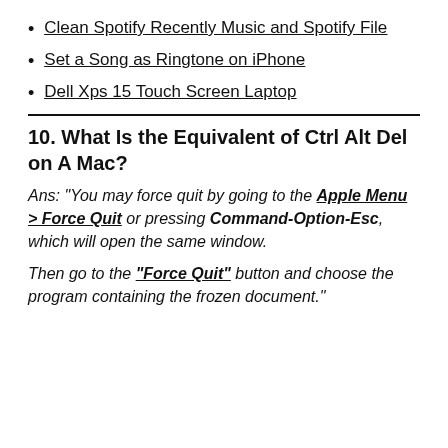Clean Spotify Recently Music and Spotify File
Set a Song as Ringtone on iPhone
Dell Xps 15 Touch Screen Laptop
10. What Is the Equivalent of Ctrl Alt Del on A Mac?
Ans: “You may force quit by going to the Apple Menu > Force Quit or pressing Command-Option-Esc, which will open the same window.
Then go to the “Force Quit” button and choose the program containing the frozen document.”